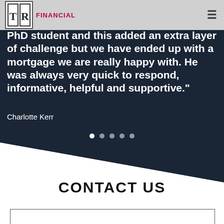TR FINANCIAL
PhD student and this added an extra layer of challenge but we have ended up with a mortgage we are really happy with. He was always very quick to respond, informative, helpful and supportive."
Charlotte Kerr
[Figure (other): Carousel navigation dots: 5 dots, first one active (white), rest grey]
[Figure (other): Diagonal transition from dark navy to white background]
CONTACT US
[Figure (other): Empty contact form input box at bottom of page]